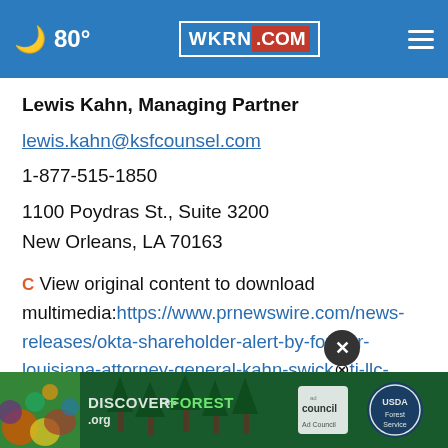80° WKRN.COM
Lewis Kahn, Managing Partner
lewis.kahn@ksfcounsel.com
1-877-515-1850
1100 Poydras St., Suite 3200
New Orleans, LA 70163
View original content to download multimedia:https://www.prnewswire.com/news-releases/okta-shareholder-alert-by-former-louisiana-attorney-general-kahn-swick-foti-llc-reminds-investors-with-losses-in-excess-of-100-000-of-lead-plaintiff-deadline-in-class-action-
[Figure (photo): Advertisement banner for DiscovertheForest.org with colorful forest imagery, Ad Council badge, and USDA Forest Service logo]